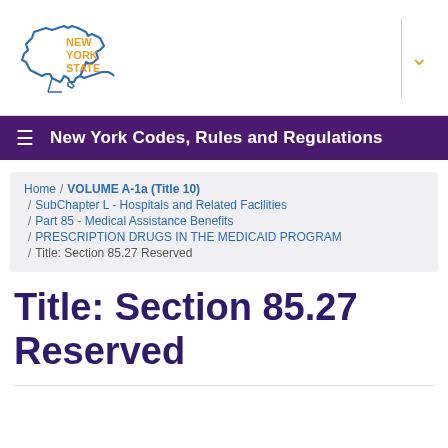[Figure (logo): New York State logo with outline of the state in blue and text 'NEW YORK STATE' in orange/yellow]
New York Codes, Rules and Regulations
Home / VOLUME A-1a (Title 10) / SubChapter L - Hospitals and Related Facilities / Part 85 - Medical Assistance Benefits / PRESCRIPTION DRUGS IN THE MEDICAID PROGRAM / Title: Section 85.27 Reserved
Title: Section 85.27 Reserved